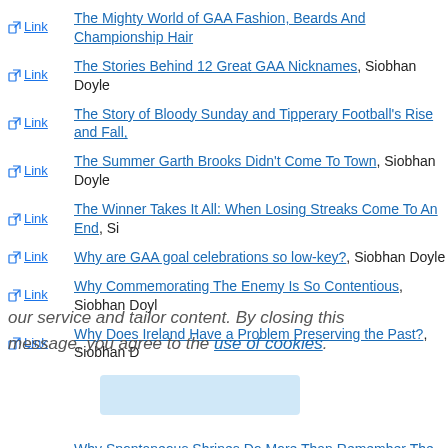Link | The Mighty World of GAA Fashion, Beards And Championship Hair
Link | The Stories Behind 12 Great GAA Nicknames, Siobhan Doyle
Link | The Story of Bloody Sunday and Tipperary Football's Rise and Fall,
Link | The Summer Garth Brooks Didn't Come To Town, Siobhan Doyle
Link | The Winner Takes It All: When Losing Streaks Come To An End, Si
Link | Why are GAA goal celebrations so low-key?, Siobhan Doyle
Link | Why Commemorating The Enemy Is So Contentious, Siobhan Doyl
Link | Why Does Ireland Have a Problem Preserving the Past?, Siobhan D
our service and tailor content. By closing this message, you agree to the use of cookies.
Link | Why Spontaneous Shrines Do More Than Remember The Dead, S
Link | Why Was the GAA Uncomfortable Remembering Bloody Sunday Vi
Link | The Story of the Shelbourne Player and Hitler's Nazis, Sean Fitzpa
Link | All You Ever Wanted to Know About Fabrics, Katriona Flynn